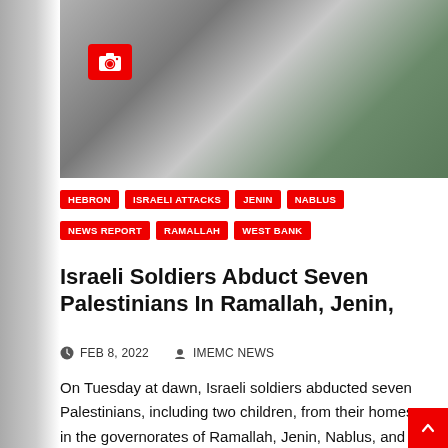[Figure (photo): Photograph of Israeli soldiers on a street, taken from behind a tree or pole. Soldiers visible in the distance on a road. Green foliage visible at right.]
HEBRON
ISRAELI ATTACKS
JENIN
NABLUS
NEWS REPORT
RAMALLAH
WEST BANK
Israeli Soldiers Abduct Seven Palestinians In Ramallah, Jenin,
FEB 8, 2022   IMEMC NEWS
On Tuesday at dawn, Israeli soldiers abducted seven Palestinians, including two children, from their homes in the governorates of Ramallah, Jenin, Nablus, and